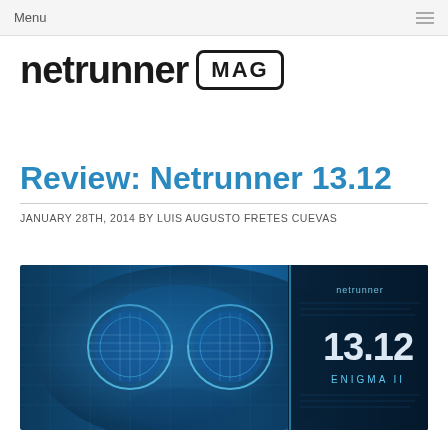Menu
[Figure (logo): Netrunner MAG logo — 'netrunner' in bold black sans-serif with 'MAG' in a rounded rectangle badge]
Review: Netrunner 13.12
JANUARY 28TH, 2014 BY LUIS AUGUSTO FRETES CUEVAS
[Figure (photo): Blue-toned cyberpunk image of a face wearing futuristic circular eyewear with digital overlays, and a panel showing '13.12 ENIGMA II' and 'netrunner' branding on the right side]